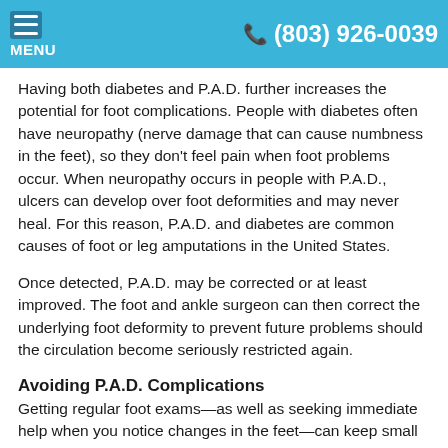MENU  (803) 926-0039
Having both diabetes and P.A.D. further increases the potential for foot complications. People with diabetes often have neuropathy (nerve damage that can cause numbness in the feet), so they don't feel pain when foot problems occur. When neuropathy occurs in people with P.A.D., ulcers can develop over foot deformities and may never heal. For this reason, P.A.D. and diabetes are common causes of foot or leg amputations in the United States.
Once detected, P.A.D. may be corrected or at least improved. The foot and ankle surgeon can then correct the underlying foot deformity to prevent future problems should the circulation become seriously restricted again.
Avoiding P.A.D. Complications
Getting regular foot exams—as well as seeking immediate help when you notice changes in the feet—can keep small problems from worsening. P.A.D. requires ongoing attention.
To avoid complications, people with this disease should follow these precautions: